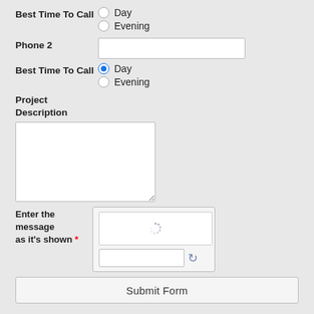Best Time To Call
Day (radio, unchecked)
Evening (radio, unchecked)
Phone 2
Best Time To Call
Day (radio, checked)
Evening (radio, unchecked)
Project Description
Enter the message as it's shown *
Submit Form
About Wet Workz Designs